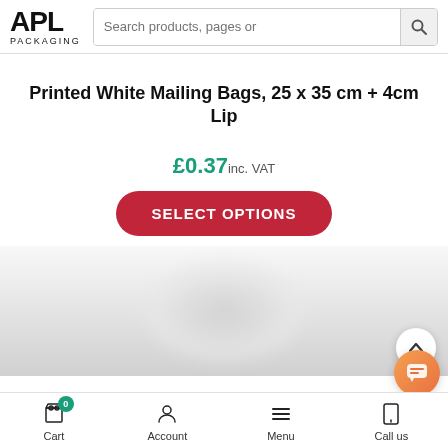APL PACKAGING — Search products, pages or
Printed White Mailing Bags, 25 x 35 cm + 4cm Lip
£0.37 inc. VAT
SELECT OPTIONS
[Figure (photo): Blurred product image area at bottom of page]
Cart 0 | Account | Menu | Call us